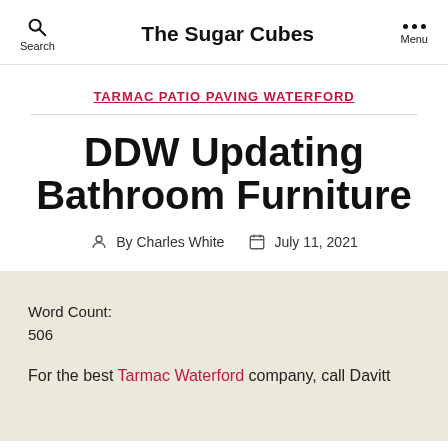Search | The Sugar Cubes | Menu
TARMAC PATIO PAVING WATERFORD
DDW Updating Bathroom Furniture
By Charles White   July 11, 2021
Word Count:
506
For the best Tarmac Waterford company, call Davitt